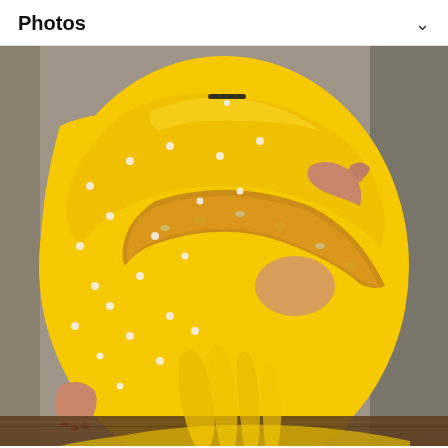Photos
[Figure (photo): A woman wearing a bright yellow saree adorned with pearl embellishments and a decorative gold border trim, sitting and holding the saree fabric. She wears a black choker necklace and has red nail polish. The background is blurred and neutral-toned.]